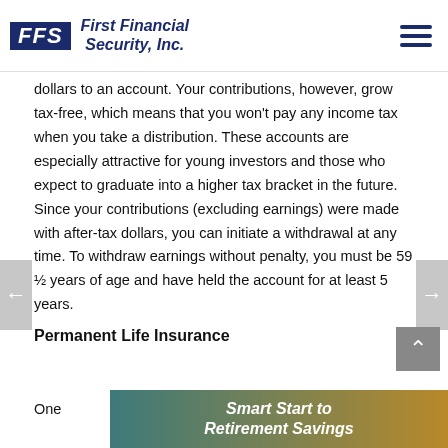FFS First Financial Security, Inc.
dollars to an account. Your contributions, however, grow tax-free, which means that you won't pay any income tax when you take a distribution. These accounts are especially attractive for young investors and those who expect to graduate into a higher tax bracket in the future. Since your contributions (excluding earnings) were made with after-tax dollars, you can initiate a withdrawal at any time. To withdraw earnings without penalty, you must be 59 ½ years of age and have held the account for at least 5 years.
Permanent Life Insurance
One
[Figure (other): Smart Start to Retirement Savings promotional banner with teal-to-gold gradient background and white bold italic text]